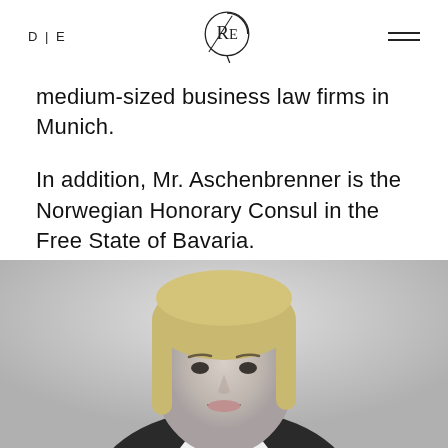D | E
medium-sized business law firms in Munich.
In addition, Mr. Aschenbrenner is the Norwegian Honorary Consul in the Free State of Bavaria.
[Figure (photo): Black and white professional portrait photo of a young blonde woman smiling, cropped from shoulders up, light grey background]